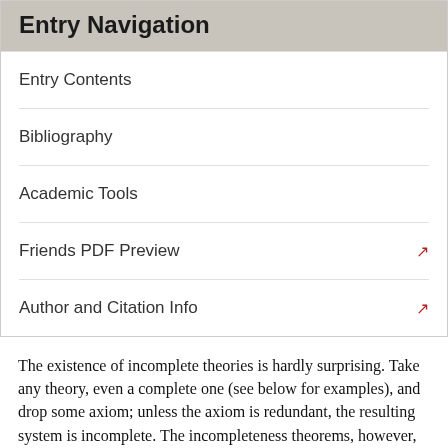Entry Navigation
Entry Contents
Bibliography
Academic Tools
Friends PDF Preview
Author and Citation Info
1.2 Some Formalized Theories
The existence of incomplete theories is hardly surprising. Take any theory, even a complete one (see below for examples), and drop some axiom; unless the axiom is redundant, the resulting system is incomplete. The incompleteness theorems, however, deal with a much more radical kind of incompleteness phenomenon. Unlike the above sort of trivially incomplete theories, which can be easily completed, there is no way of completing the relevant theories; all their extensions, inasmuch as they are still formal systems and hence axiomatizable, are also